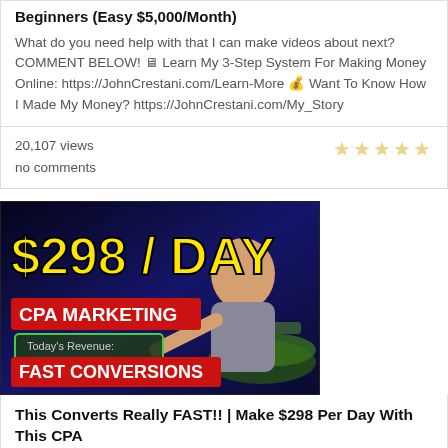Beginners (Easy $5,000/Month)
What do you need help with that I can make videos about next? COMMENT BELOW! 🖥 Learn My 3-Step System For Making Money Online: https://JohnCrestani.com/Learn-More 💰 Want To Know How I Made My Money? https://JohnCrestani.com/My_Story
20,107 views
no comments
[Figure (screenshot): Video thumbnail showing '$298 / DAY' in large yellow text, 'CPA MARKETING' in red badge, a revenue box showing 'Today's Revenue: $298.17', 'FAST CONVERSIONS' in red badge, and a man pointing at the revenue box on a dark blue background with cash visible.]
This Converts Really FAST!! | Make $298 Per Day With This CPA
If you want to start CPA marketing as a beginner to earn over $200 a day this method converts really fast! I will show